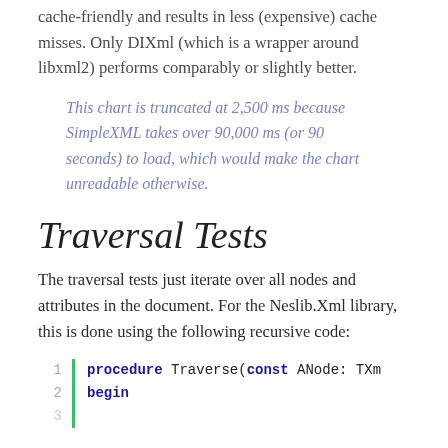cache-friendly and results in less (expensive) cache misses. Only DIXml (which is a wrapper around libxml2) performs comparably or slightly better.
This chart is truncated at 2,500 ms because SimpleXML takes over 90,000 ms (or 90 seconds) to load, which would make the chart unreadable otherwise.
Traversal Tests
The traversal tests just iterate over all nodes and attributes in the document. For the Neslib.Xml library, this is done using the following recursive code:
1  procedure Traverse(const ANode: TXmlNode);
2  begin
3  ...